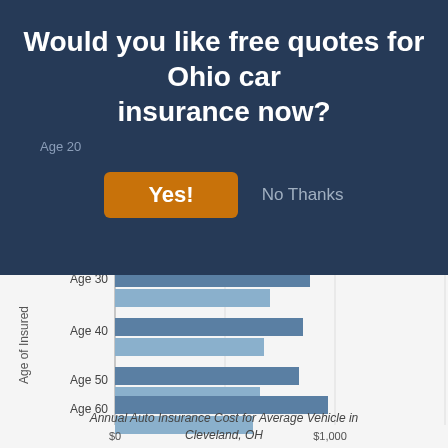Would you like free quotes for Ohio car insurance now?
[Figure (grouped-bar-chart): Insurance Rate Comparison for Cleveland, OH]
Annual Auto Insurance Cost for Average Vehicle in Cleveland, OH